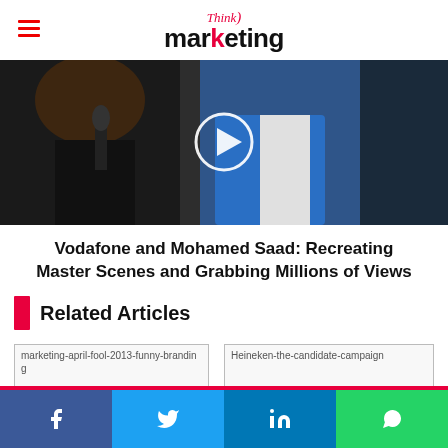Think marketing
[Figure (photo): Video thumbnail showing two people, a woman with a microphone interviewing a man in a blue jacket, with a circular play button overlay in the center]
Vodafone and Mohamed Saad: Recreating Master Scenes and Grabbing Millions of Views
Related Articles
[Figure (photo): Broken image placeholder: marketing-april-fool-2013-funny-branding]
[Figure (photo): Broken image placeholder: Heineken-the-candidate-campaign]
Facebook Twitter LinkedIn WhatsApp share buttons